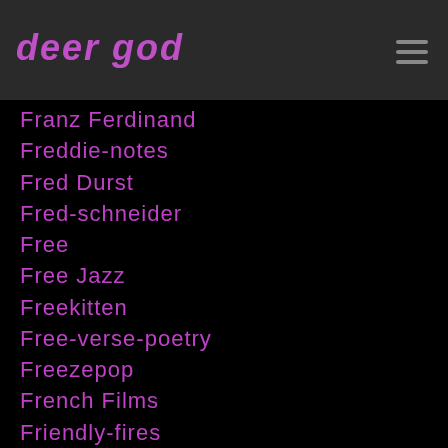deer god
Franz Ferdinand
Freddie-notes
Fred Durst
Fred-schneider
Free
Free Jazz
Freekitten
Free-verse-poetry
Freezepop
French Films
Friendly-fires
Frisky-dingo
From First To Last
From Hell
From-the-basement
Front-242
Front-line-assembly